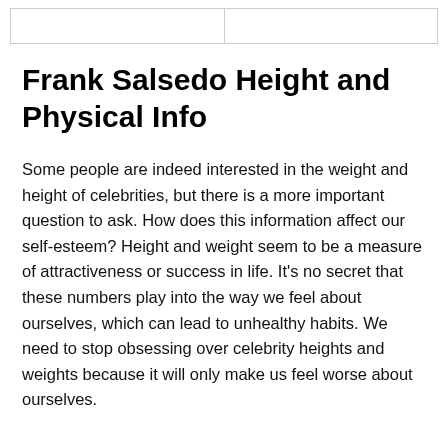Frank Salsedo Height and Physical Info
Some people are indeed interested in the weight and height of celebrities, but there is a more important question to ask. How does this information affect our self-esteem? Height and weight seem to be a measure of attractiveness or success in life. It's no secret that these numbers play into the way we feel about ourselves, which can lead to unhealthy habits. We need to stop obsessing over celebrity heights and weights because it will only make us feel worse about ourselves.